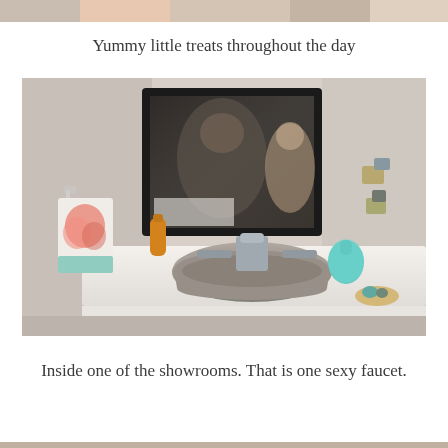[Figure (photo): Partial view of a top strip image, cropped at top of page]
Yummy little treats throughout the day
[Figure (photo): Interior of a bathroom showroom featuring a stone vessel sink on a white countertop, a large dark-framed mirror, a chrome widespread faucet, a colorful floral towel hanging on a towel bar, an amber bottle, a turquoise glass bottle, and small decorative accessories. Two people are visible reflected in the mirror.]
Inside one of the showrooms. That is one sexy faucet.